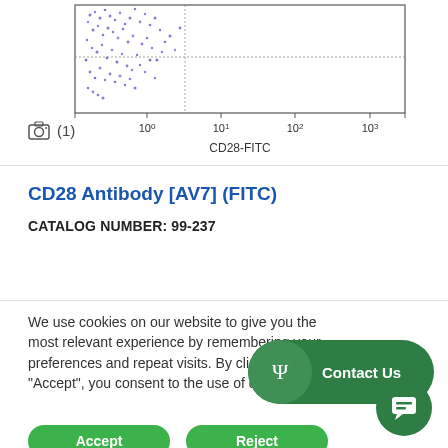[Figure (continuous-plot): Flow cytometry scatter plot showing CD28-FITC on x-axis with values 10^0, 10^1, 10^2, 10^3. Purple/violet colored cell population dots concentrated in upper-left quadrant. The x-axis label reads 'CD28-FITC'.]
(1)
CD28 Antibody [AV7] (FITC)
CATALOG NUMBER: 99-237
We use cookies on our website to give you the most relevant experience by remembering your preferences and repeat visits. By clicking “Accept”, you consent to the use of cookies.
[Figure (other): Green rounded rectangle button labeled 'Contact Us' with a Psi (Ψ) symbol icon on a circular background on the left side.]
[Figure (other): Green circular chat bubble button with speech/message icon.]